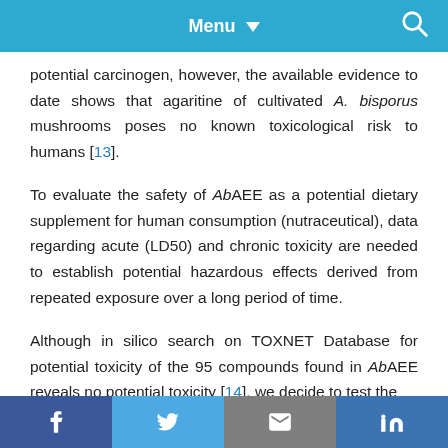Menu
potential carcinogen, however, the available evidence to date shows that agaritine of cultivated A. bisporus mushrooms poses no known toxicological risk to humans [13].
To evaluate the safety of AbAEE as a potential dietary supplement for human consumption (nutraceutical), data regarding acute (LD50) and chronic toxicity are needed to establish potential hazardous effects derived from repeated exposure over a long period of time.
Although in silico search on TOXNET Database for potential toxicity of the 95 compounds found in AbAEE reveals no potential toxicity [14], we decide to test the
f  Twitter  Email  in